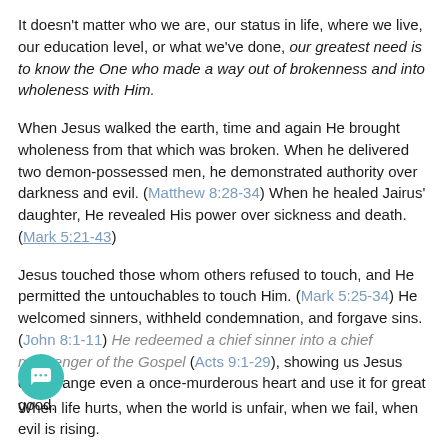It doesn't matter who we are, our status in life, where we live, our education level, or what we've done, our greatest need is to know the One who made a way out of brokenness and into wholeness with Him.
When Jesus walked the earth, time and again He brought wholeness from that which was broken. When he delivered two demon-possessed men, he demonstrated authority over darkness and evil. (Matthew 8:28-34) When he healed Jairus' daughter, He revealed His power over sickness and death. (Mark 5:21-43)
Jesus touched those whom others refused to touch, and He permitted the untouchables to touch Him. (Mark 5:25-34) He welcomed sinners, withheld condemnation, and forgave sins. (John 8:1-11) He redeemed a chief sinner into a chief messenger of the Gospel (Acts 9:1-29), showing us Jesus can change even a once-murderous heart and use it for great good.
When life hurts, when the world is unfair, when we fail, when evil is rising.